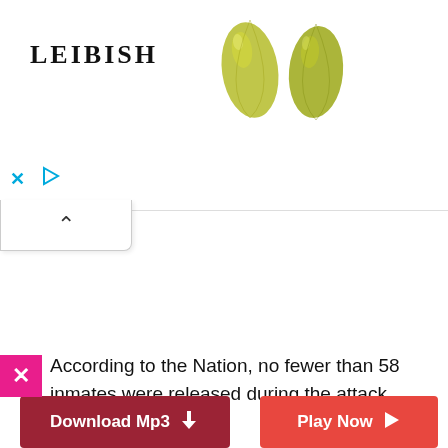[Figure (screenshot): Leibish jewelry advertisement banner with logo on left and two yellow-green teardrop gemstones on right, with close (X) and play controls below logo]
[Figure (screenshot): Collapsible tab/panel button showing an upward caret (^) arrow]
[Figure (screenshot): Magenta/pink close button with white X]
According to the Nation, no fewer than 58 inmates were released during the attack.
[Figure (screenshot): Dark red 'Download Mp3' button with down arrow icon]
[Figure (screenshot): Red 'Play Now' button with right arrow icon]